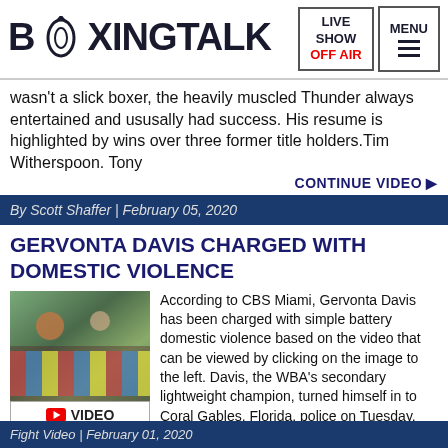BOXINGTALK | LIVE SHOW OFF AIR | MENU
wasn't a slick boxer, the heavily muscled Thunder always entertained and ususally had success. His resume is highlighted by wins over three former title holders.Tim Witherspoon. Tony
CONTINUE VIDEO ▶
By Scott Shaffer | February 05, 2020
GERVONTA DAVIS CHARGED WITH DOMESTIC VIOLENCE
[Figure (photo): Video thumbnail showing crowd scene with VIDEO label and YouTube play button icon]
According to CBS Miami, Gervonta Davis has been charged with simple battery domestic violence based on the video that can be viewed by clicking on the image to the left. Davis, the WBA's secondary lightweight champion, turned himself in to Coral Gables, Florida, police on Tuesday. The woman has been described as the mother of Davis' child.
CONTINUE VIDEO ▶
Fight Video | February 01, 2020